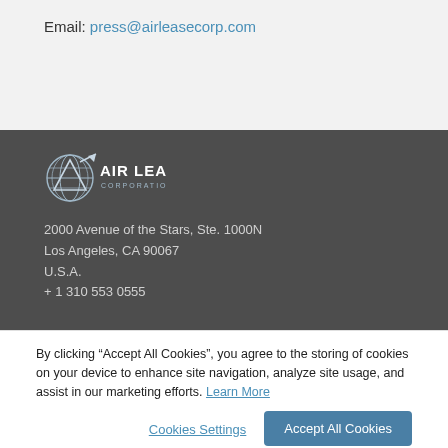Email: press@airleasecorp.com
[Figure (logo): Air Lease Corporation logo — globe with triangle and airplane, white on dark, with text 'AIR LEASE CORPORATION']
2000 Avenue of the Stars, Ste. 1000N
Los Angeles, CA 90067
U.S.A.
+ 1 310 553 0555
By clicking “Accept All Cookies”, you agree to the storing of cookies on your device to enhance site navigation, analyze site usage, and assist in our marketing efforts. Learn More
Cookies Settings
Accept All Cookies